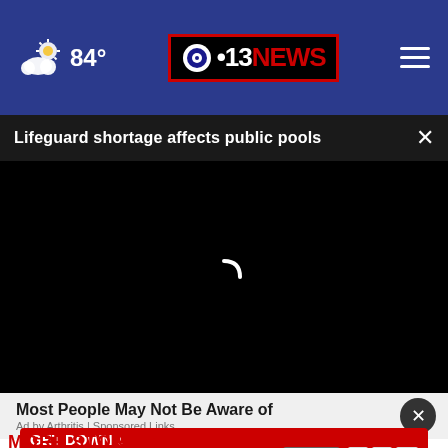84° — CBS 13 News
Lifeguard shortage affects public pools
[Figure (screenshot): Black video player area with loading spinner, partially visible]
Most People May Not Be Aware of
Ad by Arthritis | Sponsored Links
[Figure (screenshot): GET DOWN WITH YOUR BLOOD PRESSURE advertisement in red with ACT NOW button and health organization logos]
MORE STORIES